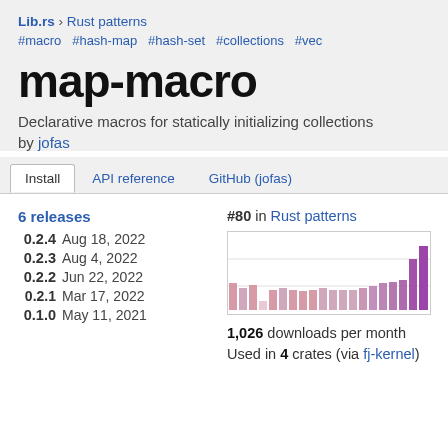Lib.rs › Rust patterns
#macro #hash-map #hash-set #collections #vec
map-macro
Declarative macros for statically initializing collections
by jofas
Install  API reference  GitHub (jofas)
6 releases
0.2.4  Aug 18, 2022
0.2.3  Aug 4, 2022
0.2.2  Jun 22, 2022
0.2.1  Mar 17, 2022
0.1.0  May 11, 2021
#80 in Rust patterns
[Figure (bar-chart): Downloads per month histogram]
1,026 downloads per month
Used in 4 crates (via fj-kernel)